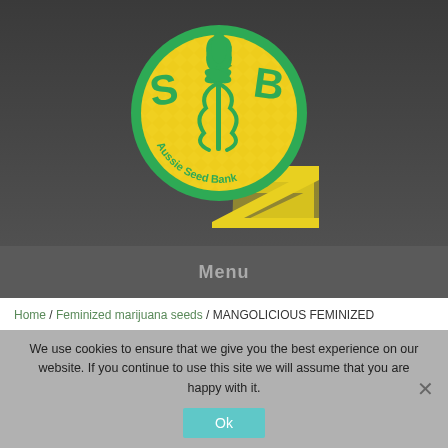[Figure (logo): Aussie Seed Bank circular logo with yellow background, green border, cannabis leaf at top, caduceus symbol in center, letters S, B, Z around it, text 'Aussie Seed Bank' along the bottom arc, with a large yellow Z shape extending below right.]
Menu
Home / Feminized marijuana seeds / MANGOLICIOUS FEMINIZED
We use cookies to ensure that we give you the best experience on our website. If you continue to use this site we will assume that you are happy with it.